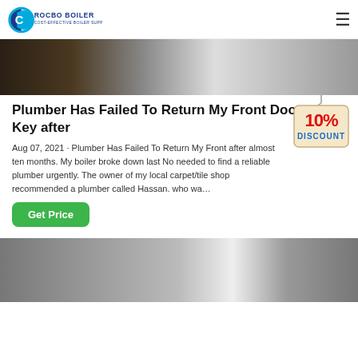ROCBO BOILER COST-EFFECTIVE BOILER SUPPLIER
[Figure (photo): Top portion of a white boiler unit on a wooden floor with cables visible]
Plumber Has Failed To Return My Front Door Key after
Aug 07, 2021 · Plumber Has Failed To Return My Front after almost ten months. My boiler broke down last No needed to find a reliable plumber urgently. The owner of my local carpet/tile shop recommended a plumber called Hassan. who wa…
[Figure (infographic): 10% DISCOUNT badge/tag hanging sign in red and blue colors]
[Figure (photo): Bottom portion showing industrial boiler or heating equipment in a dark room]